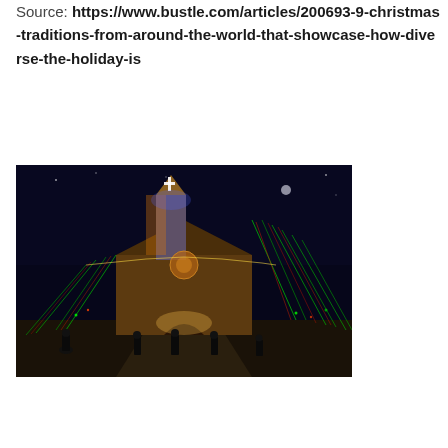Source: https://www.bustle.com/articles/200693-9-christmas-traditions-from-around-the-world-that-showcase-how-diverse-the-holiday-is
[Figure (photo): Night photograph of a church building decorated with colorful Christmas lights in red and green cascading patterns, with a blue-lit tower and orange accents. People are visible in the foreground walking on a path leading to the entrance.]